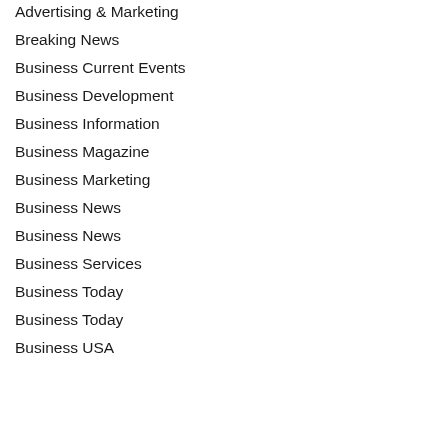Advertising & Marketing
Breaking News
Business Current Events
Business Development
Business Information
Business Magazine
Business Marketing
Business News
Business News
Business Services
Business Today
Business Today
Business USA